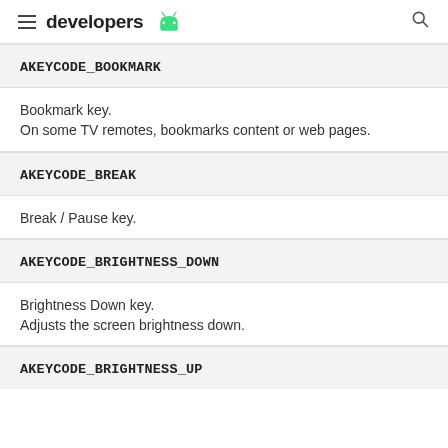developers
AKEYCODE_BOOKMARK
Bookmark key.
On some TV remotes, bookmarks content or web pages.
AKEYCODE_BREAK
Break / Pause key.
AKEYCODE_BRIGHTNESS_DOWN
Brightness Down key.
Adjusts the screen brightness down.
AKEYCODE_BRIGHTNESS_UP